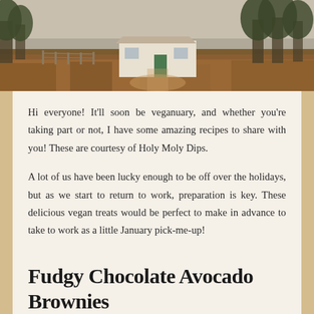[Figure (photo): Photograph of a rural farmstead with a small white building with a green door, surrounded by flat dry grassland and trees in the background.]
Hi everyone! It'll soon be veganuary, and whether you're taking part or not, I have some amazing recipes to share with you! These are courtesy of Holy Moly Dips.
A lot of us have been lucky enough to be off over the holidays, but as we start to return to work, preparation is key. These delicious vegan treats would be perfect to make in advance to take to work as a little January pick-me-up!
Fudgy Chocolate Avocado Brownies